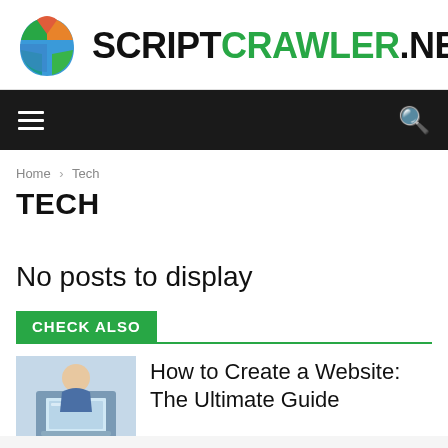[Figure (logo): ScriptCrawler.net logo with colorful brain/head icon and bold text]
[Figure (screenshot): Navigation bar with hamburger menu on left and search icon on right, dark background]
Home › Tech
TECH
No posts to display
CHECK ALSO
[Figure (photo): Thumbnail image of person working on laptop]
How to Create a Website: The Ultimate Guide